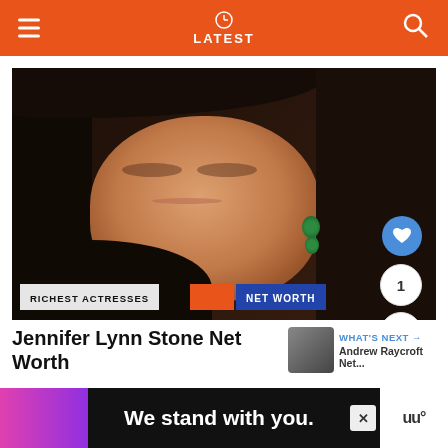LATEST
[Figure (photo): Photo of Jennifer Lynn Stone, a woman with dark hair and green earrings, smiling, wearing a dark outfit. Overlaid labels include 'RICHEST ACTRESSES' and 'NET WORTH'.]
Jennifer Lynn Stone Net Worth
WHAT'S NEXT → Andrew Raycroft Net...
We stand with you.